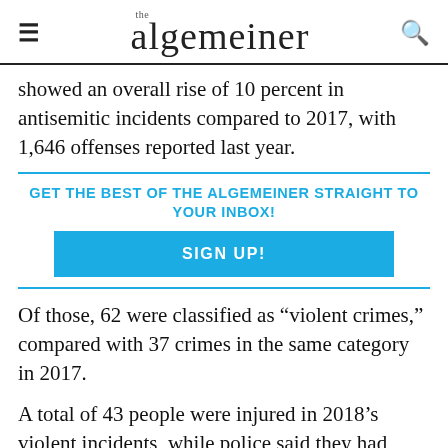the algemeiner
showed an overall rise of 10 percent in antisemitic incidents compared to 2017, with 1,646 offenses reported last year.
GET THE BEST OF THE ALGEMEINER STRAIGHT TO YOUR INBOX!
SIGN UP!
Of those, 62 were classified as “violent crimes,” compared with 37 crimes in the same category in 2017.
A total of 43 people were injured in 2018’s violent incidents, while police said they had identified 857 suspects and made 19 arrests.